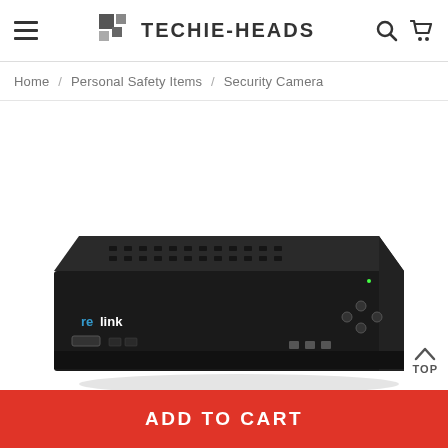TECHIE-HEADS
Home / Personal Safety Items / Security Camera
[Figure (photo): Reolink NVR security camera recorder device, black, front view showing logo, ventilation slots on top, and front panel controls]
TOP
ADD TO CART